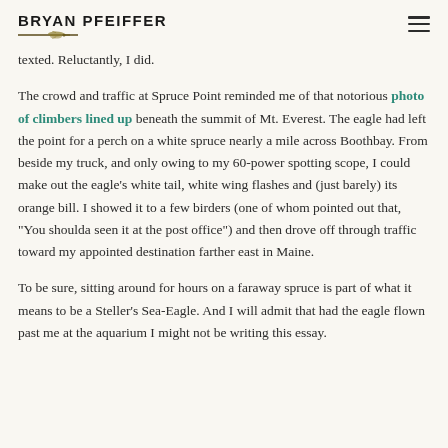BRYAN PFEIFFER
texted. Reluctantly, I did.
The crowd and traffic at Spruce Point reminded me of that notorious photo of climbers lined up beneath the summit of Mt. Everest. The eagle had left the point for a perch on a white spruce nearly a mile across Boothbay. From beside my truck, and only owing to my 60-power spotting scope, I could make out the eagle's white tail, white wing flashes and (just barely) its orange bill. I showed it to a few birders (one of whom pointed out that, “You shoulda seen it at the post office”) and then drove off through traffic toward my appointed destination farther east in Maine.
To be sure, sitting around for hours on a faraway spruce is part of what it means to be a Steller’s Sea-Eagle. And I will admit that had the eagle flown past me at the aquarium I might not be writing this essay.